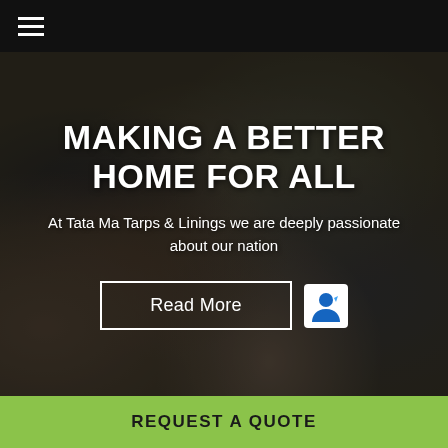≡
[Figure (photo): Background photo of a large pile of mixed garbage and waste, including plastic bags, bottles, and various trash items. The image is dark and somewhat desaturated.]
MAKING A BETTER HOME FOR ALL
At Tata Ma Tarps & Linings we are deeply passionate about our nation
Read More
REQUEST A QUOTE